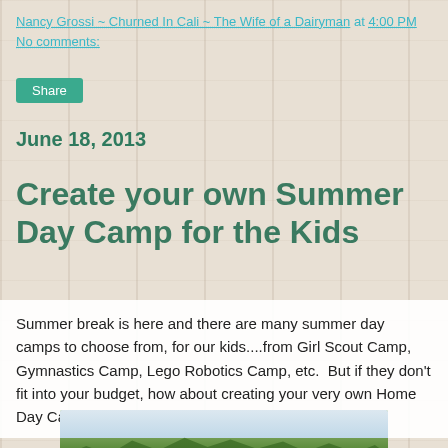Nancy Grossi ~ Churned In Cali ~ The Wife of a Dairyman at 4:00 PM    No comments:
Share
June 18, 2013
Create your own Summer Day Camp for the Kids
Summer break is here and there are many summer day camps to choose from, for our kids....from Girl Scout Camp, Gymnastics Camp, Lego Robotics Camp, etc.  But if they don't fit into your budget, how about creating your very own Home Day Camp?!
[Figure (photo): Outdoor landscape photo showing green trees and sky]